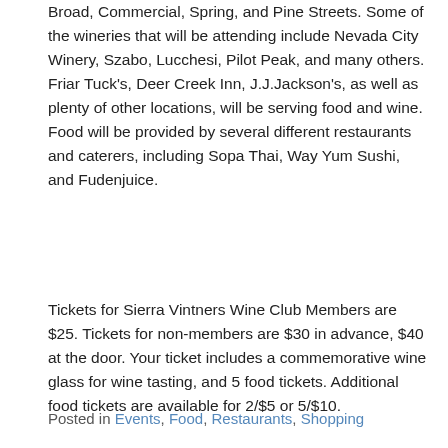Broad, Commercial, Spring, and Pine Streets. Some of the wineries that will be attending include Nevada City Winery, Szabo, Lucchesi, Pilot Peak, and many others. Friar Tuck's, Deer Creek Inn, J.J.Jackson's, as well as plenty of other locations, will be serving food and wine. Food will be provided by several different restaurants and caterers, including Sopa Thai, Way Yum Sushi, and Fudenjuice.
Tickets for Sierra Vintners Wine Club Members are $25. Tickets for non-members are $30 in advance, $40 at the door. Your ticket includes a commemorative wine glass for wine tasting, and 5 food tickets. Additional food tickets are available for 2/$5 or 5/$10.
Posted in Events, Food, Restaurants, Shopping